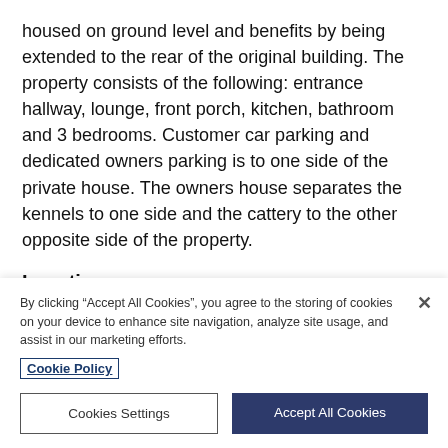housed on ground level and benefits by being extended to the rear of the original building. The property consists of the following: entrance hallway, lounge, front porch, kitchen, bathroom and 3 bedrooms. Customer car parking and dedicated owners parking is to one side of the private house. The owners house separates the kennels to one side and the cattery to the other opposite side of the property.
Location:
Located in Keiss, a short drive from the northeast town
By clicking “Accept All Cookies”, you agree to the storing of cookies on your device to enhance site navigation, analyze site usage, and assist in our marketing efforts.
Cookie Policy
Cookies Settings
Accept All Cookies